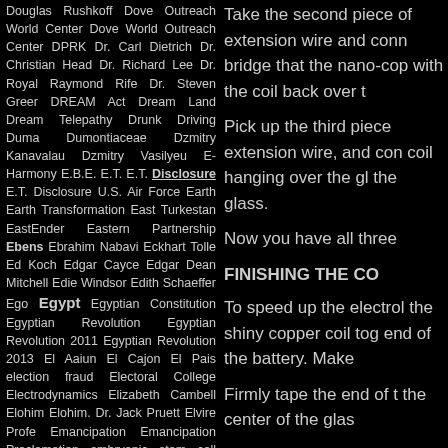Douglas Rushkoff Dove Outreach World Center Dove World Outreach Center DPRK Dr. Carl Dietrich Dr. Christian Head Dr. Richard Lee Dr. Royal Raymond Rife Dr. Steven Greer DREAM Act Dream Land Dream Telepathy Drunk Driving Duma Dumontiaceae Dzmitry Kanavalau Dzmitry Vasilyeu E-Harmony E.B.E. E.T. E.T. Disclosure E.T. Disclosure U.S. Air Force Earth Earth Transformation East Turkestan EastEnder Eastern Partnership Ebens Ebrahim Nabavi Eckhart Tolle Ed Koch Edgar Cayce Edgar Dean Mitchell Edie Windsor Edith Schaeffer Ego Egypt Egyptian Constitution Egyptian Revolution Egyptian Revolution 2011 Egyptian Revolution 2013 El Aaiun El Cajon El Pais election fraud Electoral College Electrodynamics Elizabeth Cambell Elohim Elohim. Dr. Jack Pruett Elvire Profe Emancipation Emancipation Proclamation embryonic stem cell embryonic stem cells Emilio Ojeda Emory University Employment Non-Discrimination Act Empower Network End of Europe End of Political Parties End of Scarcity End of the Age of War End of War End Times ENDA Enemies of God
Take the second piece of extension wire and connect bridge that the nano-copper with the coil back over the
Pick up the third piece of extension wire, and connect coil hanging over the glass the glass.
Now you have all three
FINISHING THE COIL
To speed up the electroplating the shiny copper coil together end of the battery. Make
Firmly tape the end of the center of the glass